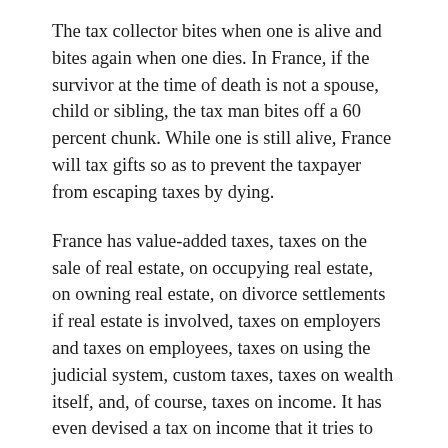The tax collector bites when one is alive and bites again when one dies. In France, if the survivor at the time of death is not a spouse, child or sibling, the tax man bites off a 60 percent chunk. While one is still alive, France will tax gifts so as to prevent the taxpayer from escaping taxes by dying.
France has value-added taxes, taxes on the sale of real estate, on occupying real estate, on owning real estate, on divorce settlements if real estate is involved, taxes on employers and taxes on employees, taxes on using the judicial system, custom taxes, taxes on wealth itself, and, of course, taxes on income. It has even devised a tax on income that it tries to conceal by calling it a solidarity tax. It can then claim its income tax rate is lower than it really is.
No one believes this pretense except the American tax man who happily plays along with the French game. It allows him to deny the French solidarity tax as a credit against American taxes. America thus adds its own tax on top of the French